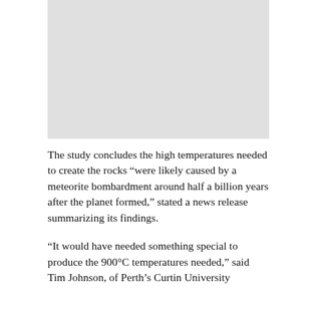[Figure (photo): Gray placeholder image area at top of page]
The study concludes the high temperatures needed to create the rocks “were likely caused by a meteorite bombardment around half a billion years after the planet formed,” stated a news release summarizing its findings.
“It would have needed something special to produce the 900°C temperatures needed,” said Tim Johnson, of Perth’s Curtin University